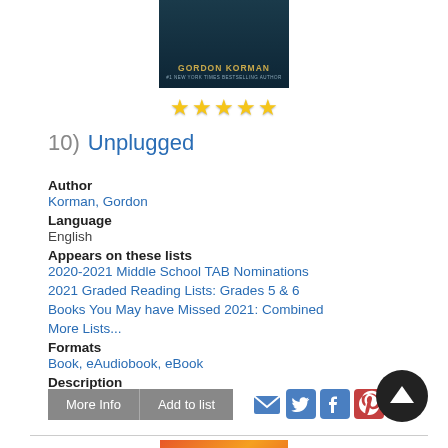[Figure (photo): Book cover for 'Unplugged' by Gordon Korman, dark teal/navy background with author name in gold text]
[Figure (other): Five gold star rating]
10)  Unplugged
Author
Korman, Gordon
Language
English
Appears on these lists
2020-2021 Middle School TAB Nominations
2021 Graded Reading Lists: Grades 5 & 6
Books You May have Missed 2021: Combined
More Lists...
Formats
Book, eAudiobook, eBook
Description
Read Description
[Figure (photo): Bottom of next book cover with orange/red gradient background and italic quote text]